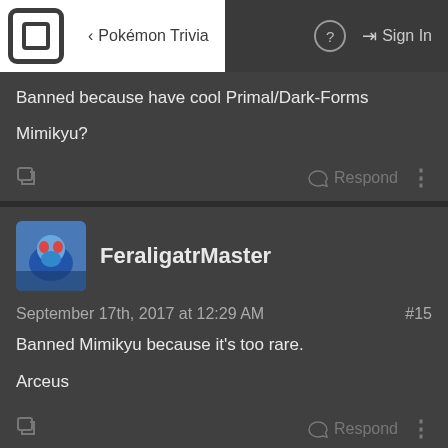Pokémon Trivia | Sign In
Banned because have cool Primal/Dark-Forms

Mimikyu?
FeraligatrMaster
September 17th, 2017 at 12:29 AM  #15
Banned Mimikyu because it's too rare.

Arceus